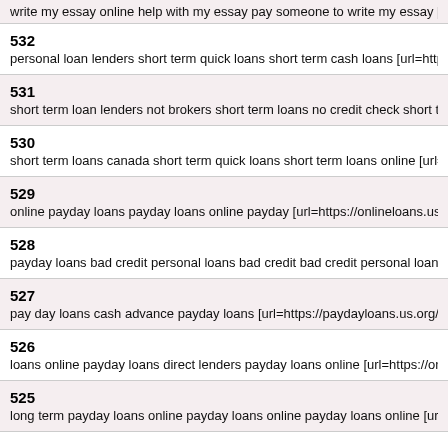write my essay online help with my essay pay someone to write my essay [url=https://write...
532
personal loan lenders short term quick loans short term cash loans [url=https://shorttermlo...
531
short term loan lenders not brokers short term loans no credit check short term loans [url=h...
530
short term loans canada short term quick loans short term loans online [url=https://shortter...
529
online payday loans payday loans online payday [url=https://onlineloans.us.com/]more info...
528
payday loans bad credit personal loans bad credit bad credit personal loans [url=https://ba...
527
pay day loans cash advance payday loans [url=https://paydayloans.us.org/]personal loans...
526
loans online payday loans direct lenders payday loans online [url=https://onlineloans.us.co...
525
long term payday loans online payday loans online payday loans online [url=https://payday...